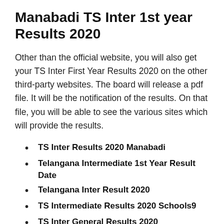Manabadi TS Inter 1st year Results 2020
Other than the official website, you will also get your TS Inter First Year Results 2020 on the other third-party websites. The board will release a pdf file. It will be the notification of the results. On that file, you will be able to see the various sites which will provide the results.
TS Inter Results 2020 Manabadi
Telangana Intermediate 1st Year Result Date
Telangana Inter Result 2020
TS Intermediate Results 2020 Schools9
TS Inter General Results 2020